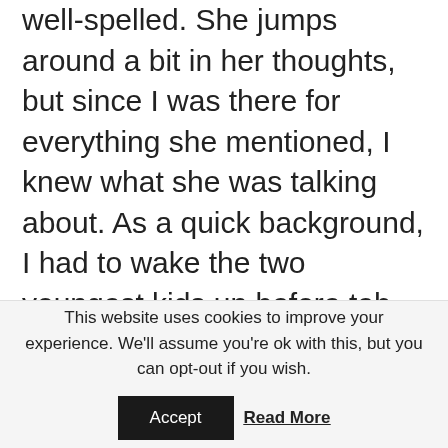well-spelled. She jumps around a bit in her thoughts, but since I was there for everything she mentioned, I knew what she was talking about. As a quick background, I had to wake the two youngest kids up before teh crack of dawn to take KitKat and a few other high school kids to the high school. Reese and AJ thought it was quite the adventure, and other than the burping from the little ones, the big kids loved
This website uses cookies to improve your experience. We'll assume you're ok with this, but you can opt-out if you wish.
Accept
Read More